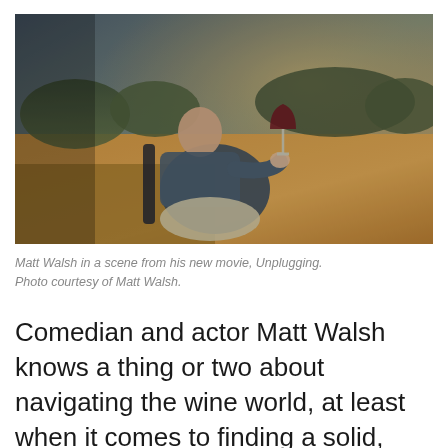[Figure (photo): A man sitting in a chair outdoors in a golden field, holding a glass of red wine, shot in cinematic style with warm autumn tones.]
Matt Walsh in a scene from his new movie, Unplugging. Photo courtesy of Matt Walsh.
Comedian and actor Matt Walsh knows a thing or two about navigating the wine world, at least when it comes to finding a solid, tasty bottle. The Upright Citizens Brigade sketch group co-founder has a knack for knowing